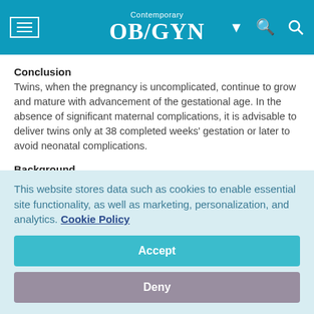Contemporary OB/GYN
Conclusion
Twins, when the pregnancy is uncomplicated, continue to grow and mature with advancement of the gestational age. In the absence of significant maternal complications, it is advisable to deliver twins only at 38 completed weeks' gestation or later to avoid neonatal complications.
Background
This website stores data such as cookies to enable essential site functionality, as well as marketing, personalization, and analytics. Cookie Policy
Accept
Deny